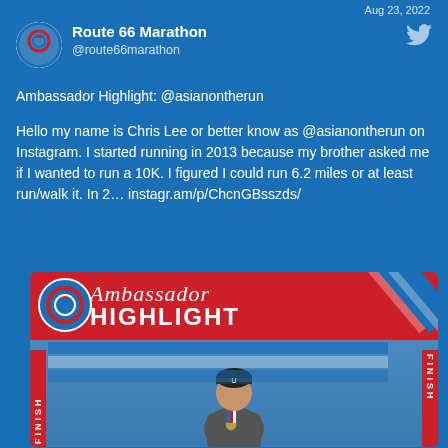Aug 23, 2022
Route 66 Marathon @route66marathon
Ambassador Highlight:  @asianontherun
Hello my name is Chris Lee or better know as @asianontherun on Instagram. I started running in 2013 because my brother asked me if I wanted to run a 10K. I figured I could run 6.2 miles or at least run/walk it. In 2… instagr.am/p/ChcnGBsszds/
[Figure (photo): Photo of a man standing at a marathon finish line under an Ambassador Highlight banner. The banner is red with white text. He is wearing a black beanie and a gray jacket with a medal around his neck.]